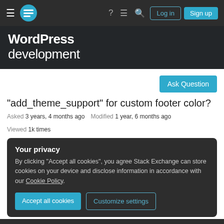WordPress development — Stack Exchange navigation bar with Log in and Sign up buttons
WordPress development
Ask Question
"add_theme_support" for custom footer color?
Asked 3 years, 4 months ago   Modified 1 year, 6 months ago   Viewed 1k times
Your privacy
By clicking "Accept all cookies", you agree Stack Exchange can store cookies on your device and disclose information in accordance with our Cookie Policy.
Accept all cookies   Customize settings